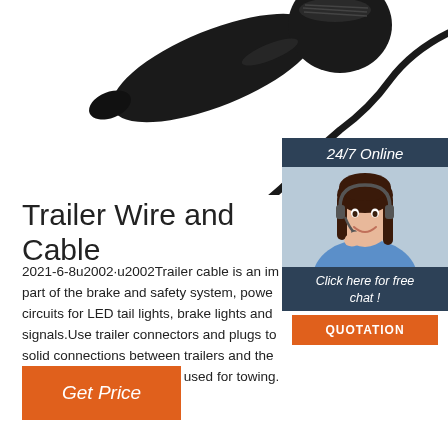[Figure (photo): Product photo of a black car vacuum cleaner / handheld device with a cigarette lighter plug and cable, on white background, partially cropped at top]
[Figure (infographic): 24/7 Online chat widget with a smiling female customer service agent wearing a headset, dark navy background, 'Click here for free chat!' text, and orange QUOTATION button]
Trailer Wire and Cable
2021-6-8u2002·u2002Trailer cable is an important part of the brake and safety system, powers circuits for LED tail lights, brake lights and signals.Use trailer connectors and plugs to solid connections between trailers and the RVs and heavy equipment used for towing.
Get Price